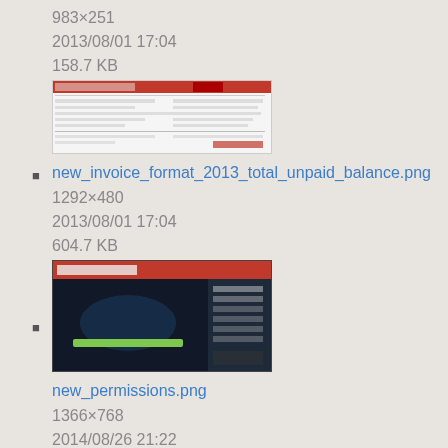983×251
2013/08/01 17:04
158.7 KB
new_invoice_format_2013_total_unpaid_balance.png
new_permissions.png
1366×768
2014/08/26 21:22
100 KB
new_ticket_form.jpg
798×491
2013/11/01 17:37